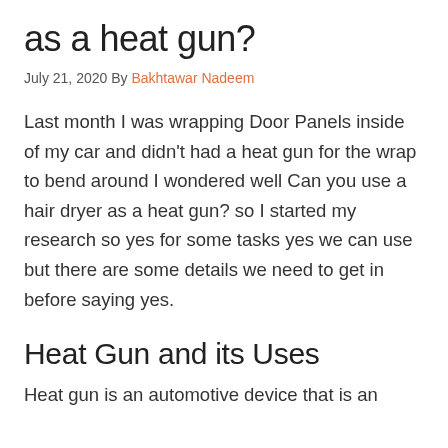as a heat gun?
July 21, 2020 By Bakhtawar Nadeem
Last month I was wrapping Door Panels inside of my car and didn't had a heat gun for the wrap to bend around I wondered well Can you use a hair dryer as a heat gun? so I started my research so yes for some tasks yes we can use but there are some details we need to get in before saying yes.
Heat Gun and its Uses
Heat gun is an automotive device that is an